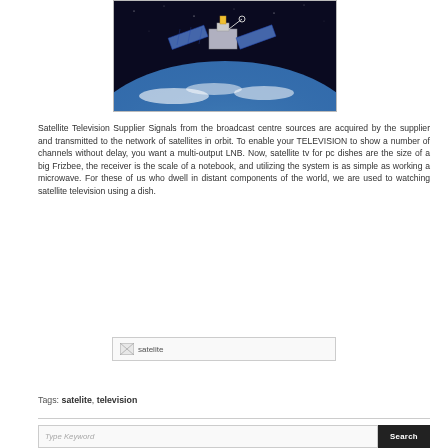[Figure (photo): Satellite orbiting above Earth with solar panels extended, Earth's blue surface and atmosphere visible below]
Satellite Television Supplier Signals from the broadcast centre sources are acquired by the supplier and transmitted to the network of satellites in orbit. To enable your TELEVISION to show a number of channels without delay, you want a multi-output LNB. Now, satellite tv for pc dishes are the size of a big Frizbee, the receiver is the scale of a notebook, and utilizing the system is as simple as working a microwave. For these of us who dwell in distant components of the world, we are used to watching satellite television using a dish.
[Figure (photo): Broken image placeholder labeled 'satelite']
Tags: satelite, television
Type Keyword
Search